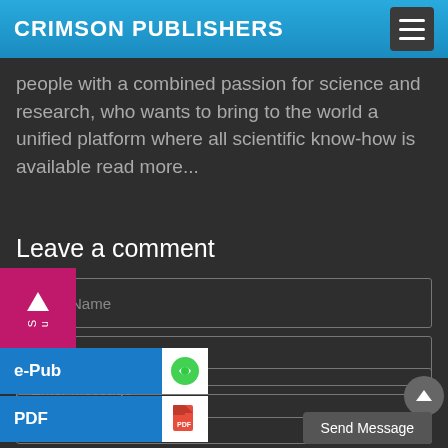CRIMSON PUBLISHERS
people with a combined passion for science and research, who wants to bring to the world a unified platform where all scientific know-how is available read more...
Leave a comment
Enter Name
Enter Email
Enter Subject
Enter Message
Send Message
e-Pub
PDF